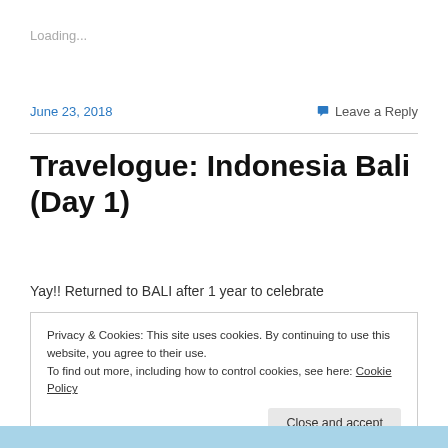Loading...
June 23, 2018
💬 Leave a Reply
Travelogue: Indonesia Bali (Day 1)
Yay!! Returned to BALI after 1 year to celebrate
Privacy & Cookies: This site uses cookies. By continuing to use this website, you agree to their use.
To find out more, including how to control cookies, see here: Cookie Policy
Close and accept
[Figure (photo): Bottom strip of a beach/ocean photo in blue tones]